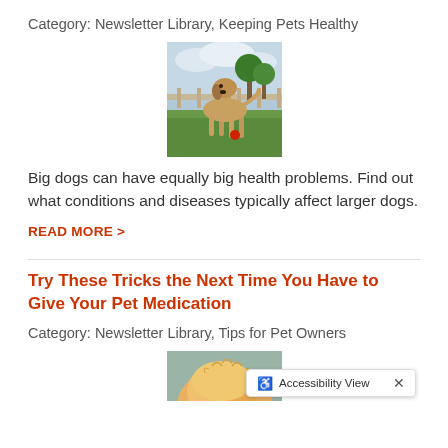Category: Newsletter Library, Keeping Pets Healthy
[Figure (photo): A large tan dog (Great Dane) standing on a green lawn with trees and a fence in the background, with a red ball near its feet.]
Big dogs can have equally big health problems. Find out what conditions and diseases typically affect larger dogs.
READ MORE >
Try These Tricks the Next Time You Have to Give Your Pet Medication
Category: Newsletter Library, Tips for Pet Owners
[Figure (photo): Partial image of a fluffy orange/cream colored pet, possibly a cat.]